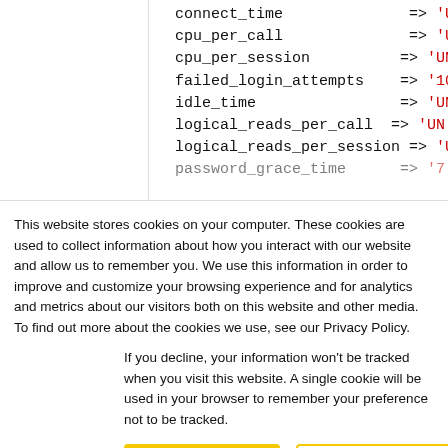connect_time => 'UN
cpu_per_call => 'UN
cpu_per_session => 'UN
failed_login_attempts => '10
idle_time => 'UN
logical_reads_per_call => 'UN
logical_reads_per_session => 'UN
password_grace_time => '7'
This website stores cookies on your computer. These cookies are used to collect information about how you interact with our website and allow us to remember you. We use this information in order to improve and customize your browsing experience and for analytics and metrics about our visitors both on this website and other media. To find out more about the cookies we use, see our Privacy Policy.
If you decline, your information won't be tracked when you visit this website. A single cookie will be used in your browser to remember your preference not to be tracked.